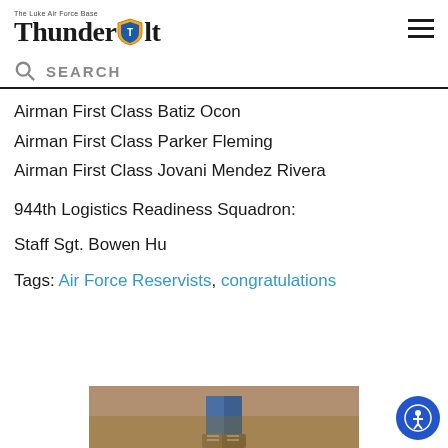Thunderbolt
SEARCH
Airman First Class Batiz Ocon
Airman First Class Parker Fleming
Airman First Class Jovani Mendez Rivera
944th Logistics Readiness Squadron:
Staff Sgt. Bowen Hu
Tags: Air Force Reservists, congratulations
[Figure (photo): Advertisement photo showing person in jeans and boots]